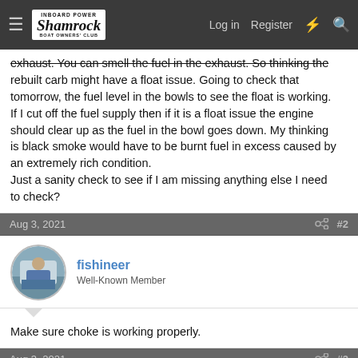Shamrock Inboard Power Boat Owners' Club — Log in | Register
exhaust. You can smell the fuel in the exhaust. So thinking the rebuilt carb might have a float issue. Going to check that tomorrow, the fuel level in the bowls to see the float is working. If I cut off the fuel supply then if it is a float issue the engine should clear up as the fuel in the bowl goes down. My thinking is black smoke would have to be burnt fuel in excess caused by an extremely rich condition.
Just a sanity check to see if I am missing anything else I need to check?
Aug 3, 2021
#2
fishineer
Well-Known Member
Make sure choke is working properly.
Aug 3, 2021
#3